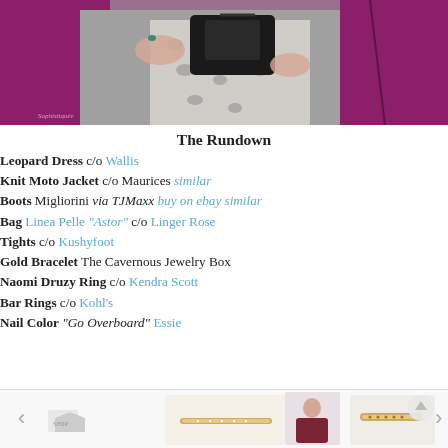[Figure (photo): Close-up photo of a woman wearing a purple/magenta knit moto jacket holding a black leather bag, with a leopard print dress visible underneath. Watermark 'Sophistiquée' visible at bottom left.]
The Rundown
Leopard Dress c/o Wallis
Knit Moto Jacket c/o Maurices similar
Boots Migliorini via TJMaxx buy on ebay similar
Bag Linea Pelle "Astor" c/o Linger Rose
Tights c/o Kushyfoot
Gold Bracelet The Cavernous Jewelry Box
Naomi Druzy Ring c/o Kendra Scott
Bar Rings c/o Kohl's
Nail Color "Go Overboard" Essie
[Figure (photo): Bottom strip showing product images: a gold bar bracelet/ring and a woman in a burgundy moto jacket. Navigation arrows on sides.]